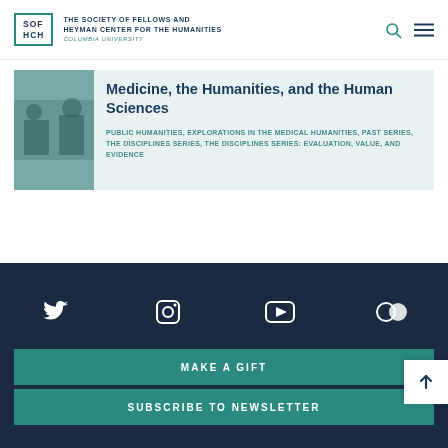SOF HCH — THE SOCIETY OF FELLOWS AND HEYMAN CENTER FOR THE HUMANITIES — COLUMBIA UNIVERSITY
Medicine, the Humanities, and the Human Sciences
PUBLIC HUMANITIES, EXPLORATIONS IN THE MEDICAL HUMANITIES, PAST SERIES, THE DISCIPLINES SERIES, THE DISCIPLINES SERIES: EVALUATION, VALUE, AND EVIDENCE
Social icons: Twitter, Instagram, YouTube, Flickr | MAKE A GIFT | SUBSCRIBE TO NEWSLETTER